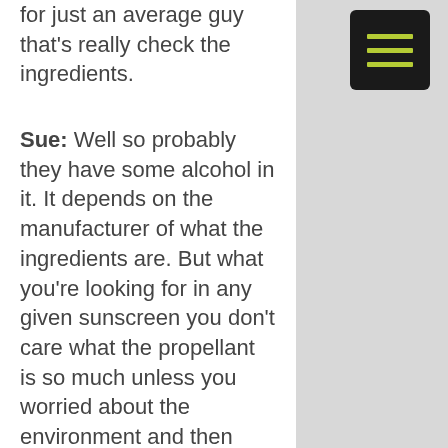for just an average guy that's really check the ingredients.
Sue: Well so probably they have some alcohol in it. It depends on the manufacturer of what the ingredients are. But what you're looking for in any given sunscreen you don't care what the propellant is so much unless you worried about the environment and then care about the propellants having fluorocarbons in them but beyond that you
[Figure (other): Hamburger menu icon button — dark/black rounded rectangle with three horizontal yellow-green lines]